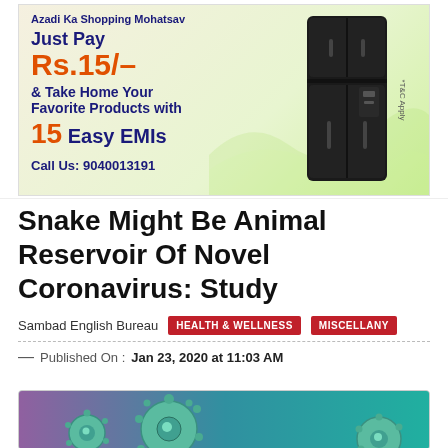[Figure (illustration): Advertisement banner for an EMI shopping offer. Text: 'Azadi Ka Shopping Mohatsav', 'Just Pay', 'Rs.15/-', '& Take Home Your Favorite Products with', '15 Easy EMIs', 'Call Us: 9040013191'. Features an image of a black refrigerator, green wavy background, and '*T&C Apply' text.]
Snake Might Be Animal Reservoir Of Novel Coronavirus: Study
Sambad English Bureau
HEALTH & WELLNESS
MISCELLANY
— Published On : Jan 23, 2020 at 11:03 AM
[Figure (photo): Close-up illustration/photo of coronavirus particles (teal/green spiky spheres) on a purple and teal background.]